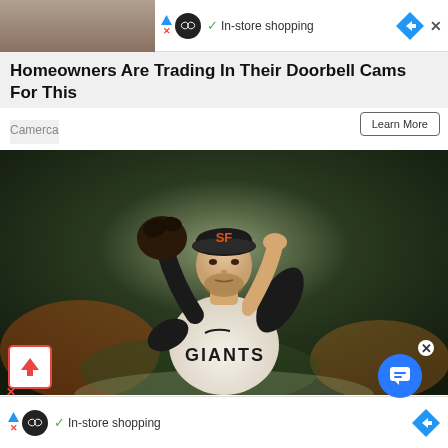[Figure (screenshot): Top advertisement bar with infinity icon, In-store shopping text, navigation arrow diamond icon, and close X button]
Homeowners Are Trading In Their Doorbell Cams For This
Camerca
Learn More
[Figure (photo): San Francisco Giants baseball pitcher in white Giants jersey and black SF cap, holding glove up near head, blurred crowd background]
[Figure (screenshot): Bottom advertisement bar with infinity icon, In-store shopping text, and navigation arrow diamond]